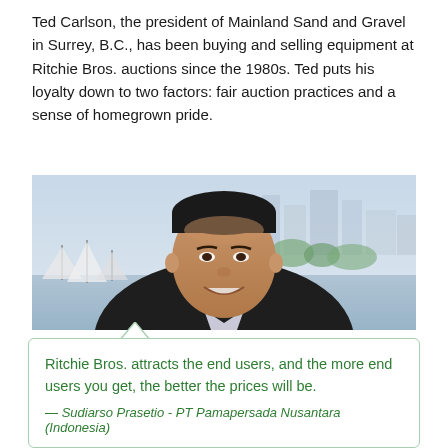Ted Carlson, the president of Mainland Sand and Gravel in Surrey, B.C., has been buying and selling equipment at Ritchie Bros. auctions since the 1980s. Ted puts his loyalty down to two factors: fair auction practices and a sense of homegrown pride.
[Figure (photo): Portrait photo of Ted Carlson, a middle-aged Asian man smiling, wearing a dark blazer and light shirt, with a waterfront city skyline and sailboats in the blurred background.]
Ritchie Bros. attracts the end users, and the more end users you get, the better the prices will be.
— Sudiarso Prasetio - PT Pamapersada Nusantara (Indonesia)